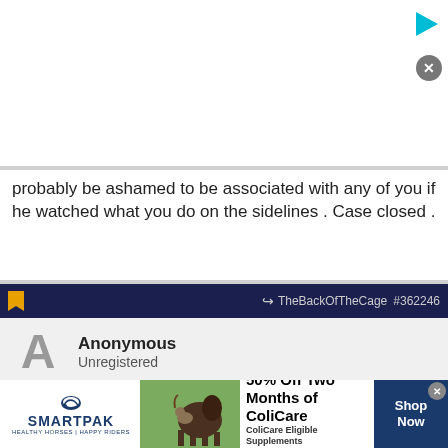[Figure (screenshot): Advertisement area at top of page with white background, play button icon (cyan triangle) top right, and close button (grey circle with X)]
probably be ashamed to be associated with any of you if he watched what you do on the sidelines . Case closed .
[Figure (screenshot): Forum post header bar in dark navy with bookmark icon, share icon, TheBackOfTheCage forum name, and post number #362246]
Anonymous
Unregistered
Can somebody tell the story how Native Americans were insulted at the World Series? I don't care what club it was just tell the story.
[Figure (screenshot): Second forum post header bar in dark navy with bookmark icon, share icon, TheBackOfTheCage forum name, and post number #362247]
[Figure (advertisement): SmartPak advertisement: 50% Off Two Months of ColiCare, ColiCare Eligible Supplements, CODE: COLICARE10, Shop Now button]